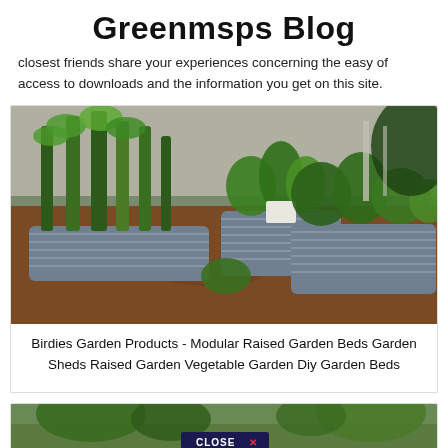Greenmsps Blog
closest friends share your experiences concerning the easy of access to downloads and the information you get on this site.
[Figure (photo): Raised metal corrugated garden beds filled with tall plants and leafy vegetables, surrounded by wood chip mulch, outdoor garden setting.]
Birdies Garden Products - Modular Raised Garden Beds Garden Sheds Raised Garden Vegetable Garden Diy Garden Beds
[Figure (photo): Partial view of a second garden image with a 'CLOSE X' button overlay at the bottom center.]